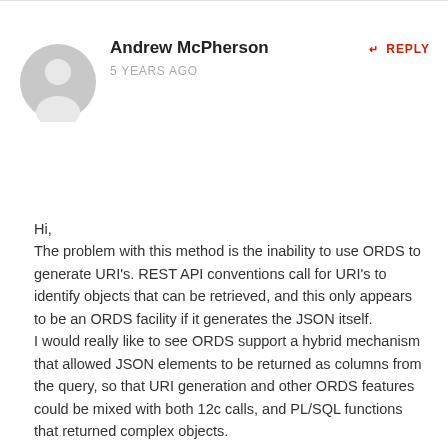Andrew McPherson
REPLY
5 YEARS AGO
[Figure (illustration): Generic user avatar icon — grey circle with a person silhouette]
Hi,
The problem with this method is the inability to use ORDS to generate URI's. REST API conventions call for URI's to identify objects that can be retrieved, and this only appears to be an ORDS facility if it generates the JSON itself.
I would really like to see ORDS support a hybrid mechanism that allowed JSON elements to be returned as columns from the query, so that URI generation and other ORDS features could be mixed with both 12c calls, and PL/SQL functions that returned complex objects.